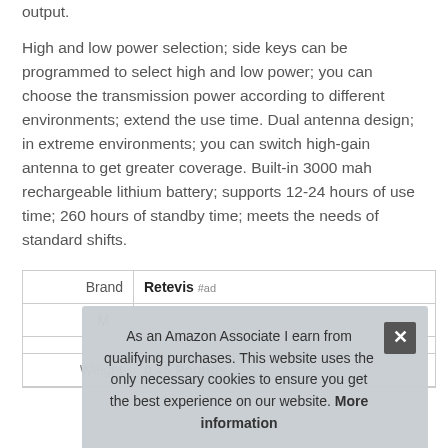output.
High and low power selection; side keys can be programmed to select high and low power; you can choose the transmission power according to different environments; extend the use time. Dual antenna design; in extreme environments; you can switch high-gain antenna to get greater coverage. Built-in 3000 mah rechargeable lithium battery; supports 12-24 hours of use time; 260 hours of standby time; meets the needs of standard shifts.
|  |  |
| --- | --- |
| Brand | Retevis #ad |
| M… |  |
|  |  |
|  |  |
| Weight | 0.46 Pounds |
As an Amazon Associate I earn from qualifying purchases. This website uses the only necessary cookies to ensure you get the best experience on our website. More information